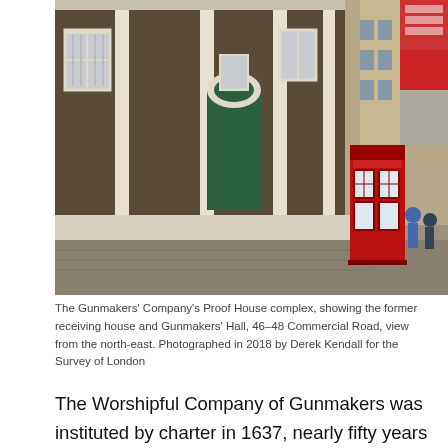[Figure (photo): Exterior photograph of The Gunmakers' Company's Proof House complex, showing a brown brick building with white-framed windows and a green door, a red telephone box on the pavement, and a street scene. View from the north-east.]
The Gunmakers' Company's Proof House complex, showing the former receiving house and Gunmakers' Hall, 46–48 Commercial Road, view from the north-east. Photographed in 2018 by Derek Kendall for the Survey of London
The Worshipful Company of Gunmakers was instituted by charter in 1637, nearly fifty years after a group of gunmakers drew up draft procedures for proving the safety of firearms. Opposition from other interested parties – the Blacksmiths and Armourers – delayed the creation and adoption of the Company until a Royal